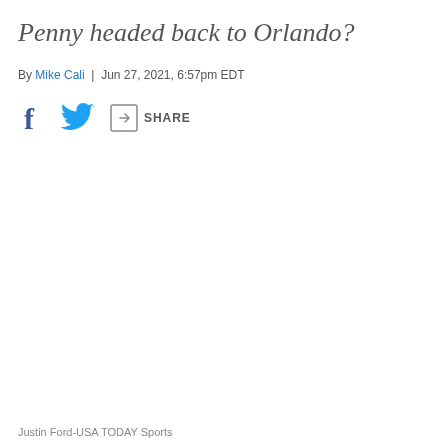Penny headed back to Orlando?
By Mike Cali | Jun 27, 2021, 6:57pm EDT
[Figure (infographic): Social sharing icons: Facebook, Twitter, and a generic share icon with label SHARE]
Justin Ford-USA TODAY Sports